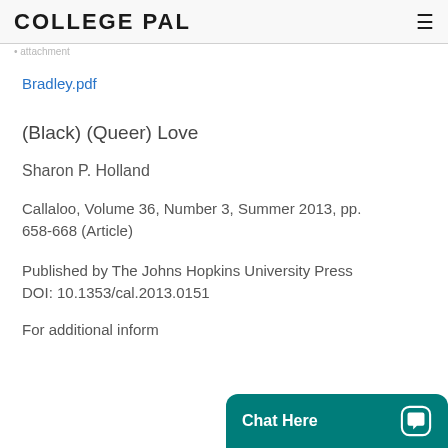COLLEGE PAL
• attachment
Bradley.pdf
(Black) (Queer) Love
Sharon P. Holland
Callaloo, Volume 36, Number 3, Summer 2013, pp. 658-668 (Article)
Published by The Johns Hopkins University Press
DOI: 10.1353/cal.2013.0151
For additional inform